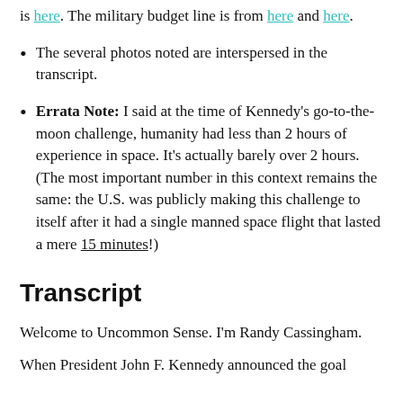is here. The military budget line is from here and here.
The several photos noted are interspersed in the transcript.
Errata Note: I said at the time of Kennedy's go-to-the-moon challenge, humanity had less than 2 hours of experience in space. It's actually barely over 2 hours. (The most important number in this context remains the same: the U.S. was publicly making this challenge to itself after it had a single manned space flight that lasted a mere 15 minutes!)
Transcript
Welcome to Uncommon Sense. I'm Randy Cassingham.
When President John F. Kennedy announced the goal